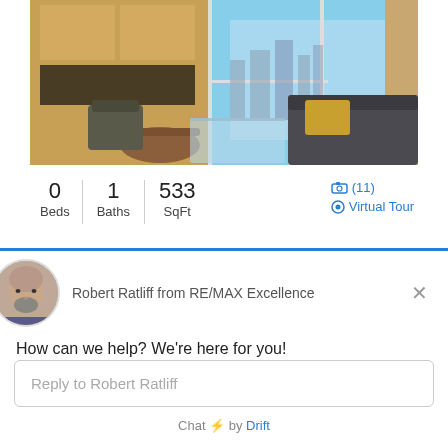[Figure (photo): Interior photo of a hotel/condo room with kitchen cabinets, seating area with chairs and a glass coffee table, sofa with yellow pillow, and floor-to-ceiling windows with a city skyline view and blue sky.]
0 Beds | 1 Baths | 533 SqFt
(11) Virtual Tour
[Figure (photo): Circular avatar photo of a bald man with a grey beard, agent Robert Ratliff.]
Robert Ratliff from RE/MAX Excellence
How can we help? We're here for you!
Reply to Robert Ratliff
Chat ⚡ by Drift